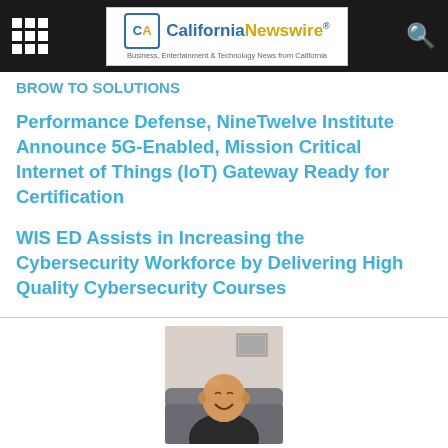California Newswire® — Business, Entertainment & Technology News from California
Performance Defense, NineTwelve Institute Announce 5G-Enabled, Mission Critical Internet of Things (IoT) Gateway Ready for Certification
WIS ED Assists in Increasing the Cybersecurity Workforce by Delivering High Quality Cybersecurity Courses
[Figure (photo): Photo of a bald middle-aged man smiling, sitting on a couch, wearing a dark shirt, in an indoor setting]